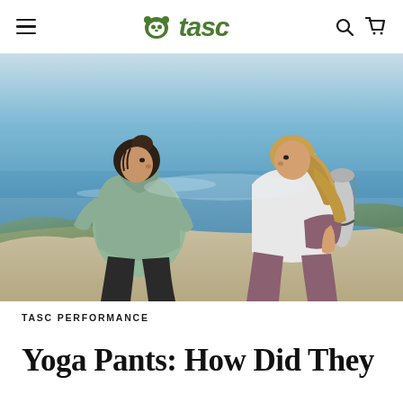tasc (logo navigation bar with hamburger menu, search icon, and cart icon)
[Figure (photo): Two women sitting outdoors near a beach. The woman on the left has dark hair in a bun and wears a green/sage cropped hoodie with black pants. The woman on the right has long blonde hair and wears a white sleeveless top with mauve/dusty rose yoga pants and carries a rolled yoga mat. They are facing each other and conversing with the ocean and sand dunes in the background.]
TASC PERFORMANCE
Yoga Pants: How Did They